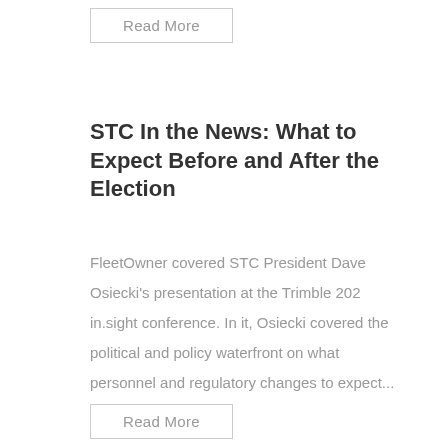Read More
STC In the News: What to Expect Before and After the Election
FleetOwner covered STC President Dave Osiecki's presentation at the Trimble 202 in.sight conference. In it, Osiecki covered the political and policy waterfront on what personnel and regulatory changes to expect...
Read More